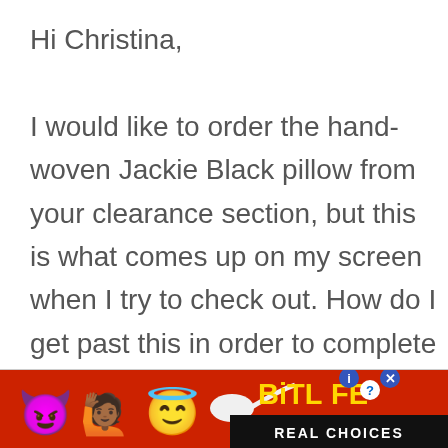Hi Christina,

I would like to order the hand-woven Jackie Black pillow from your clearance section, but this is what comes up on my screen when I try to check out. How do I get past this in order to complete my order? I tried to take a screen shot, but your format here won't accept it.

SHIPPING NOT AVAILABLE FOR
[Figure (screenshot): Advertisement banner for BitLife app with colorful emoji characters (devil, woman, angel emoji) on red background with yellow BitLife logo and 'REAL CHOICES' text in black bar]